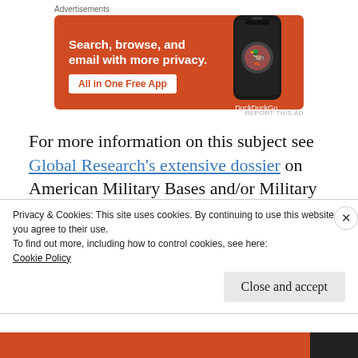Advertisements
[Figure (illustration): DuckDuckGo advertisement banner with orange background showing 'Search, browse, and email with more privacy. All in One Free App' with a phone showing the DuckDuckGo app]
For more information on this subject see Global Research's extensive dossier on American Military Bases and/or Military Installations abroad.
Privacy & Cookies: This site uses cookies. By continuing to use this website, you agree to their use. To find out more, including how to control cookies, see here: Cookie Policy
Close and accept